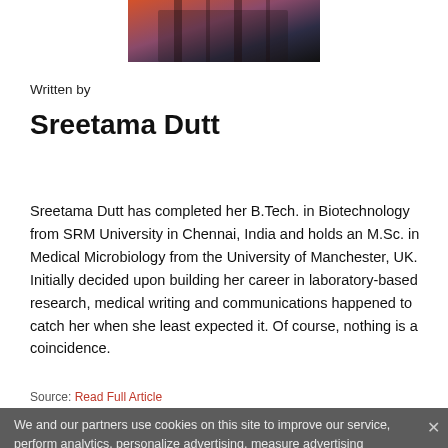[Figure (photo): Partial photo of Sreetama Dutt at top of page (cropped, showing plaid shirt and orange/dark background)]
Written by
Sreetama Dutt
Sreetama Dutt has completed her B.Tech. in Biotechnology from SRM University in Chennai, India and holds an M.Sc. in Medical Microbiology from the University of Manchester, UK. Initially decided upon building her career in laboratory-based research, medical writing and communications happened to catch her when she least expected it. Of course, nothing is a coincidence.
Source: Read Full Article
We and our partners use cookies on this site to improve our service, perform analytics, personalize advertising, measure advertising performance, and remember website preferences.